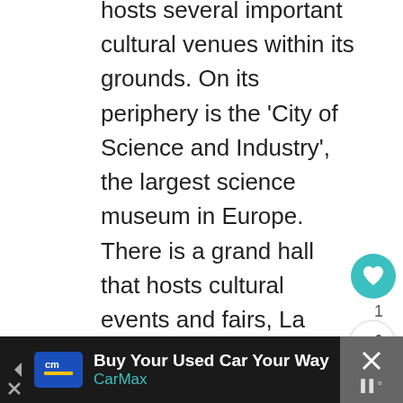This is the third largest park in Paris and hosts several important cultural venues within its grounds. On its periphery is the 'City of Science and Industry', the largest science museum in Europe. There is a grand hall that hosts cultural events and fairs, La Zenith is a concert arena and L'Argonaute is a decommissioned submarine. The Philharmonie de Paris has an eye catching silvery symphony hall with a unique modern design. The park attracts thousands of visitors of all ages who want to engage in one type of cultural activity or the other.
Address: 211 Avenue Jean Jaurès, 75019 Paris, France.
[Figure (screenshot): Advertisement bar: CarMax 'Buy Your Used Car Your Way' ad with logo and navigation icon. Dark background with close button on the right.]